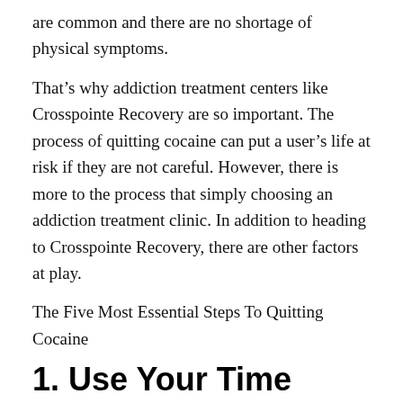are common and there are no shortage of physical symptoms.
That's why addiction treatment centers like Crosspointe Recovery are so important. The process of quitting cocaine can put a user's life at risk if they are not careful. However, there is more to the process that simply choosing an addiction treatment clinic. In addition to heading to Crosspointe Recovery, there are other factors at play.
The Five Most Essential Steps To Quitting Cocaine
1. Use Your Time More Wisely
When an addict has too much time on their hands, that is when trouble can arise. The cravings are furthered when an addict does not fill up their schedule. Be sure